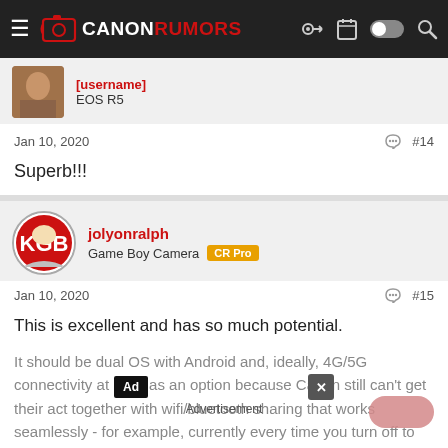Canon Rumors
EOS R5
Jan 10, 2020   #14
Superb!!!
jolyonralph
Game Boy Camera  CR Pro
Jan 10, 2020   #15
This is excellent and has so much potential.
It should be dual OS with Android and, ideally, 4G/5G connectivity at least as an option because Canon still can't get their act together with wifi/bluetooth sharing that works seamlessly - for example, currently every time you turn off to change lens you have to
Advertisement